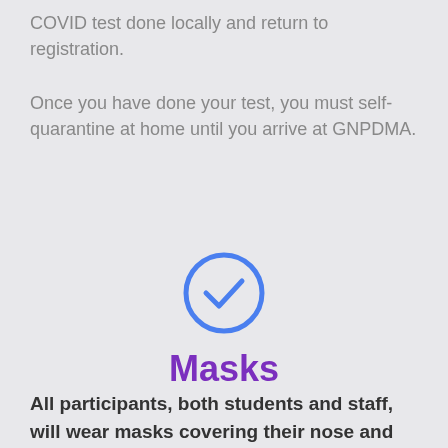COVID test done locally and return to registration.
Once you have done your test, you must self-quarantine at home until you arrive at GNPDMA.
[Figure (illustration): Blue circle with a checkmark inside, indicating completion or approval.]
Masks
All participants, both students and staff, will wear masks covering their nose and mouth ANY time they are